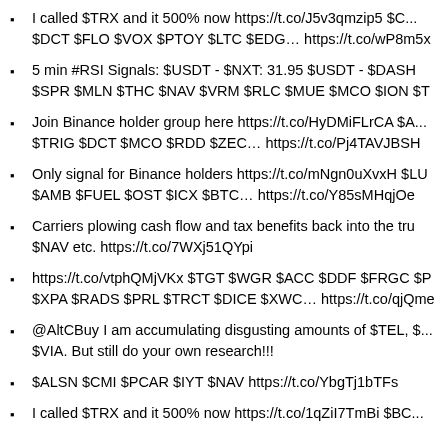I called $TRX and it 500% now https://t.co/J5v3qmzip5 $C... $DCT $FLO $VOX $PTOY $LTC $EDG… https://t.co/wP8m5x
5 min #RSI Signals: $USDT - $NXT: 31.95 $USDT - $DASH $SPR $MLN $THC $NAV $VRM $RLC $MUE $MCO $ION $T
Join Binance holder group here https://t.co/HyDMiFLrCA $A... $TRIG $DCT $MCO $RDD $ZEC… https://t.co/Pj4TAVJBSH
Only signal for Binance holders https://t.co/mNgn0uXvxH $LU $AMB $FUEL $OST $ICX $BTC… https://t.co/Y85sMHqjOe
Carriers plowing cash flow and tax benefits back into the tru $NAV etc. https://t.co/7WXj51QYpi
https://t.co/vtphQMjVKx $TGT $WGR $ACC $DDF $FRGC $P $XPA $RADS $PRL $TRCT $DICE $XWC… https://t.co/qjQme
@AltCBuy I am accumulating disgusting amounts of $TEL, $... $VIA. But still do your own research!!!
$ALSN $CMI $PCAR $IYT $NAV https://t.co/YbgTj1bTFs
I called $TRX and it 500% now https://t.co/1qZiI7TmBi $BC...